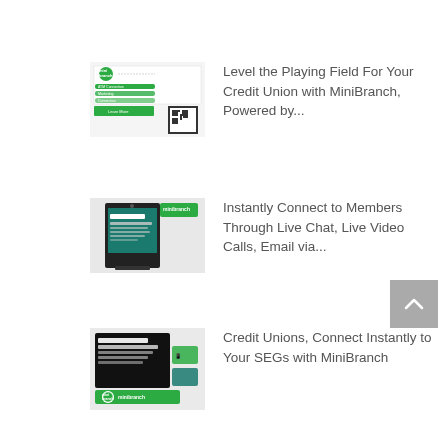Level the Playing Field For Your Credit Union with MiniBranch, Powered by...
Instantly Connect to Members Through Live Chat, Live Video Calls, Email via...
Credit Unions, Connect Instantly to Your SEGs with MiniBranch